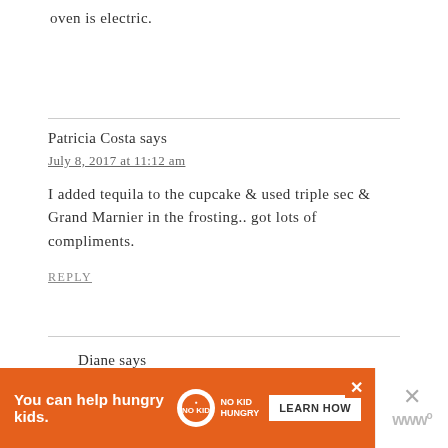oven is electric.
Patricia Costa says
July 8, 2017 at 11:12 am
I added tequila to the cupcake & used triple sec & Grand Marnier in the frosting.. got lots of compliments.
REPLY
Diane says
You can help hungry kids. NO KID HUNGRY LEARN HOW